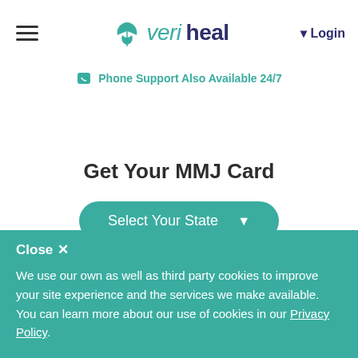veriheal — Login
Phone Support Also Available 24/7
Get Your MMJ Card
Select Your State
[Figure (logo): Veriheal logo with teal leaf icon and RESOURCES text]
Close ✕
We use our own as well as third party cookies to improve your site experience and the services we make available. You can learn more about our use of cookies in our Privacy Policy.